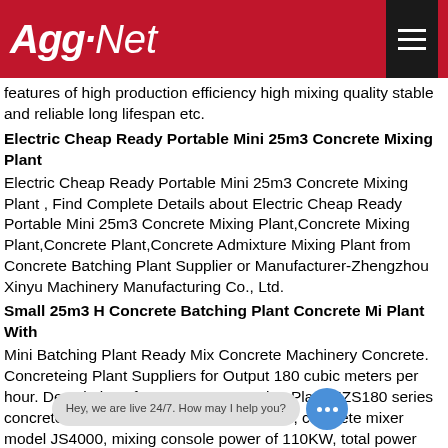Agg-Net
features of high production efficiency high mixing quality stable and reliable long lifespan etc.
Electric Cheap Ready Portable Mini 25m3 Concrete Mixing Plant
Electric Cheap Ready Portable Mini 25m3 Concrete Mixing Plant , Find Complete Details about Electric Cheap Ready Portable Mini 25m3 Concrete Mixing Plant,Concrete Mixing Plant,Concrete Plant,Concrete Admixture Mixing Plant from Concrete Batching Plant Supplier or Manufacturer-Zhengzhou Xinyu Machinery Manufacturing Co., Ltd.
Small 25m3 H Concrete Batching Plant Concrete Mi Plant With
Mini Batching Plant Ready Mix Concrete Machinery Concrete. Concreteing Plant Suppliers for Output 180 cubic meters per hour. Description of HZS180 Concreteing Plant HZS180 series concrete mixing plant productivity theory h, concrete mixer model JS4000, mixing console power of 110KW, total power equipment package for 200KW, warehouse cell includin grid
Small 25m3/h Self-l cl Plant
Concrete Batching Plant Mini Mobile HZS series...